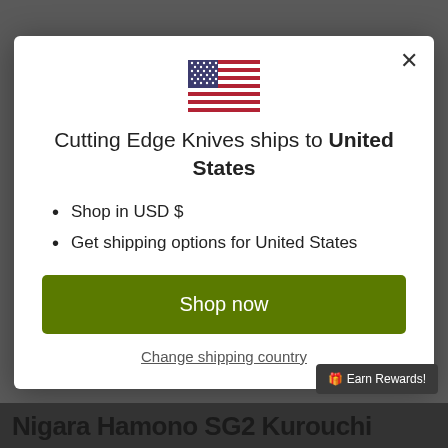[Figure (screenshot): Background dark gray screenshot of a website page showing knife product]
[Figure (illustration): US flag emoji/illustration centered at top of modal]
Cutting Edge Knives ships to United States
Shop in USD $
Get shipping options for United States
Shop now
Change shipping country
🎁 Earn Rewards!
Nigara Hamono SG2 Kurouchi